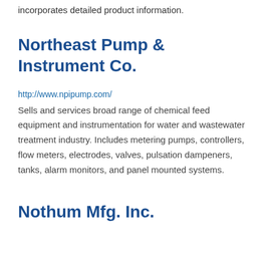incorporates detailed product information.
Northeast Pump & Instrument Co.
http://www.npipump.com/
Sells and services broad range of chemical feed equipment and instrumentation for water and wastewater treatment industry. Includes metering pumps, controllers, flow meters, electrodes, valves, pulsation dampeners, tanks, alarm monitors, and panel mounted systems.
Nothum Mfg. Inc.